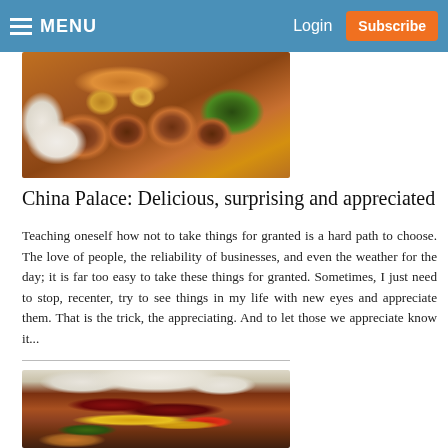MENU  Login  Subscribe
[Figure (photo): Close-up photo of Chinese food dish with meatballs or mushrooms in brown sauce with green pepper and rice]
China Palace: Delicious, surprising and appreciated
Teaching oneself how not to take things for granted is a hard path to choose. The love of people, the reliability of businesses, and even the weather for the day; it is far too easy to take these things for granted. Sometimes, I just need to stop, recenter, try to see things in my life with new eyes and appreciate them. That is the trick, the appreciating. And to let those we appreciate know it...
[Figure (photo): Close-up photo of a double cheeseburger with lettuce, red pepper, onion and potato chips on the side]